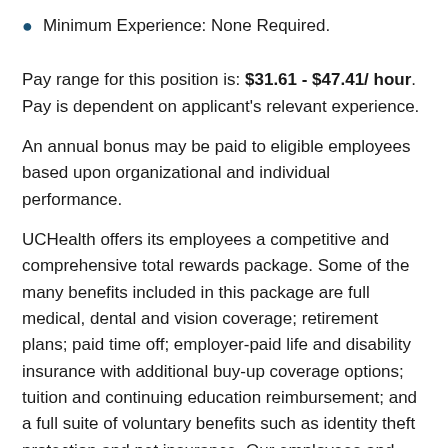Minimum Experience: None Required.
Pay range for this position is: $31.61 - $47.41/ hour. Pay is dependent on applicant's relevant experience.
An annual bonus may be paid to eligible employees based upon organizational and individual performance.
UCHealth offers its employees a competitive and comprehensive total rewards package. Some of the many benefits included in this package are full medical, dental and vision coverage; retirement plans; paid time off; employer-paid life and disability insurance with additional buy-up coverage options; tuition and continuing education reimbursement; and a full suite of voluntary benefits such as identity theft protection and pet insurance. Our employees and their family members have full access to our Employee Assistance Program